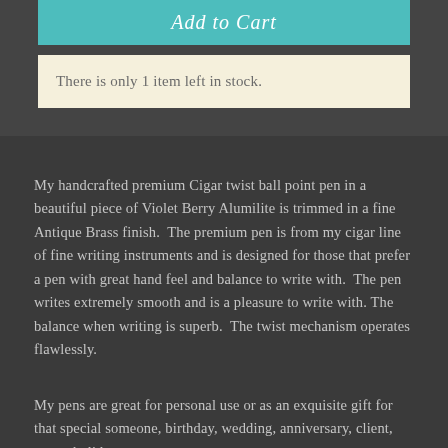Add to Cart
There is only 1 item left in stock.
My handcrafted premium Cigar twist ball point pen in a beautiful piece of Violet Berry Alumilite is trimmed in a fine Antique Brass finish.  The premium pen is from my cigar line of fine writing instruments and is designed for those that prefer a pen with great hand feel and balance to write with.  The pen writes extremely smooth and is a pleasure to write with. The balance when writing is superb.  The twist mechanism operates flawlessly.
My pens are great for personal use or as an exquisite gift for that special someone, birthday, wedding, anniversary, client, guest, holiday, etc.
These are one of a kind pens made from alumilite formulations I